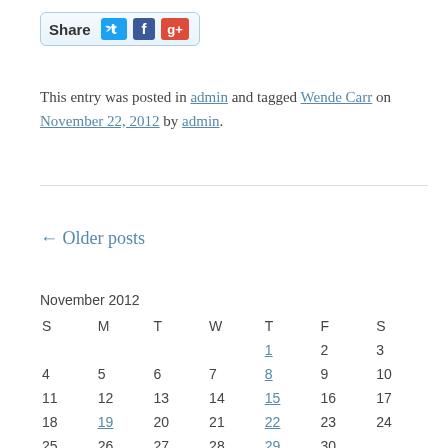[Figure (other): Share button widget with Twitter, Facebook, and Google+ icons]
This entry was posted in admin and tagged Wende Carr on November 22, 2012 by admin.
← Older posts
| S | M | T | W | T | F | S |
| --- | --- | --- | --- | --- | --- | --- |
|  |  |  |  | 1 | 2 | 3 |
| 4 | 5 | 6 | 7 | 8 | 9 | 10 |
| 11 | 12 | 13 | 14 | 15 | 16 | 17 |
| 18 | 19 | 20 | 21 | 22 | 23 | 24 |
| 25 | 26 | 27 | 28 | 29 | 30 |  |